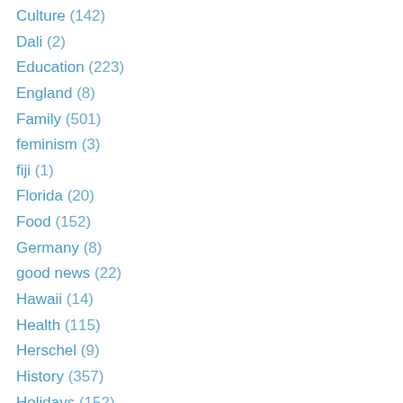Culture (142)
Dali (2)
Education (223)
England (8)
Family (501)
feminism (3)
fiji (1)
Florida (20)
Food (152)
Germany (8)
good news (22)
Hawaii (14)
Health (115)
Herschel (9)
History (357)
Holidays (152)
Hong Kong (101)
Iceland (9)
India (24)
Inspiration (61)